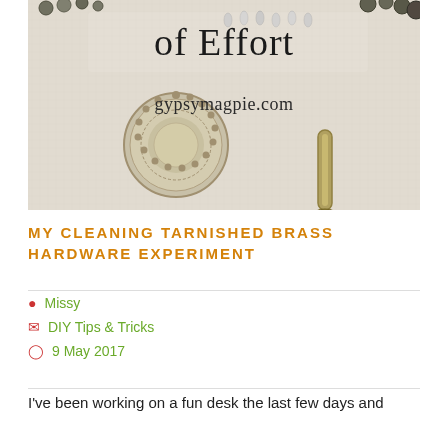[Figure (photo): Overhead photo of tarnished brass and silver hardware pieces (knobs, pulls, decorative beads/chains) on a white textured surface. Text overlay reads 'of Effort' at the top and 'gypsymagpie.com' in the middle.]
MY CLEANING TARNISHED BRASS HARDWARE EXPERIMENT
Missy
DIY Tips & Tricks
9 May 2017
I've been working on a fun desk the last few days and